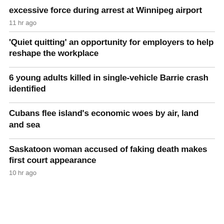excessive force during arrest at Winnipeg airport
11 hr ago
'Quiet quitting' an opportunity for employers to help reshape the workplace
6 young adults killed in single-vehicle Barrie crash identified
Cubans flee island's economic woes by air, land and sea
Saskatoon woman accused of faking death makes first court appearance
10 hr ago